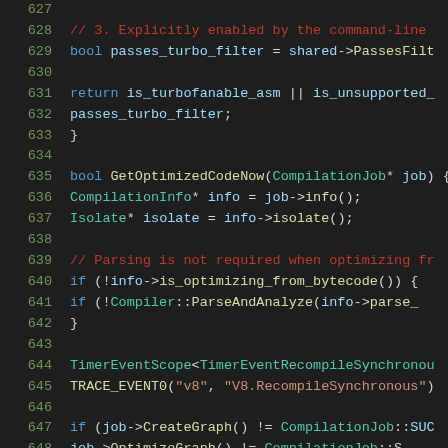[Figure (screenshot): Source code view showing C++ code lines 627-648 with syntax highlighting on dark background. Line numbers in green on left. Code includes a function GetOptimizedCodeNow with CompilationJob parameter, variable assignments, comments, and conditional statements.]